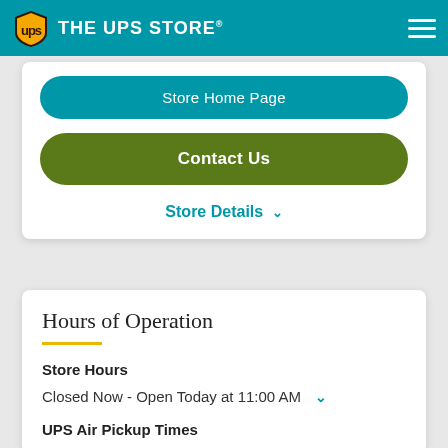THE UPS STORE
Store Home Page
Contact Us
Store Details
Hours of Operation
Store Hours
Closed Now - Open Today at 11:00 AM
UPS Air Pickup Times